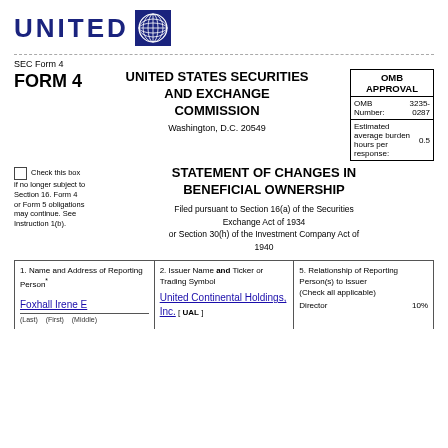[Figure (logo): United Airlines logo: UNITED text in bold dark blue with globe icon]
SEC Form 4
FORM 4   UNITED STATES SECURITIES AND EXCHANGE COMMISSION
Washington, D.C. 20549
| OMB APPROVAL |
| --- |
| OMB Number: | 3235-0287 |
| Estimated average burden hours per response: | 0.5 |
Check this box if no longer subject to Section 16. Form 4 or Form 5 obligations may continue. See Instruction 1(b).
STATEMENT OF CHANGES IN BENEFICIAL OWNERSHIP
Filed pursuant to Section 16(a) of the Securities Exchange Act of 1934
or Section 30(h) of the Investment Company Act of 1940
| 1. Name and Address of Reporting Person* | 2. Issuer Name and Ticker or Trading Symbol | 5. Relationship of Reporting Person(s) to Issuer (Check all applicable) |
| --- | --- | --- |
| Foxhall Irene E | United Continental Holdings, Inc. [ UAL ] | Director  10% |